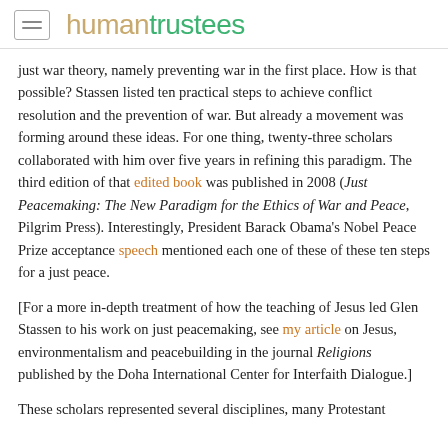humantrustees
just war theory, namely preventing war in the first place. How is that possible? Stassen listed ten practical steps to achieve conflict resolution and the prevention of war. But already a movement was forming around these ideas. For one thing, twenty-three scholars collaborated with him over five years in refining this paradigm. The third edition of that edited book was published in 2008 (Just Peacemaking: The New Paradigm for the Ethics of War and Peace, Pilgrim Press). Interestingly, President Barack Obama's Nobel Peace Prize acceptance speech mentioned each one of these of these ten steps for a just peace.
[For a more in-depth treatment of how the teaching of Jesus led Glen Stassen to his work on just peacemaking, see my article on Jesus, environmentalism and peacebuilding in the journal Religions published by the Doha International Center for Interfaith Dialogue.]
These scholars represented several disciplines, many Protestant